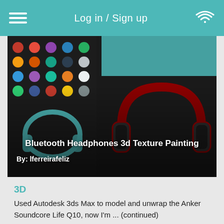Log in / Sign up
[Figure (screenshot): Screenshot of a 3D software interface showing a Bluetooth headphone model with texture painting, overlaid with title text 'Bluetooth Headphones 3d Texture Painting' and 'By: lferreirafeliz']
3D
Used Autodesk 3ds Max to model and unwrap the Anker Soundcore Life Q10, now I'm ... (continued)
7 months ago    Total Views: 5
Watch Now